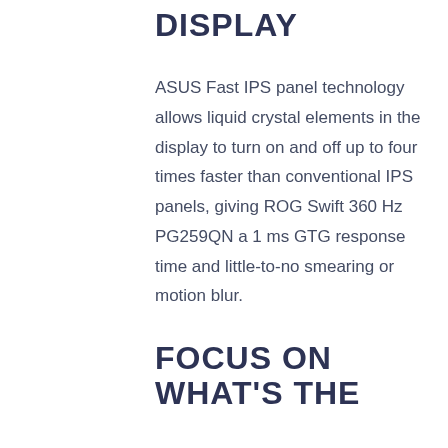DISPLAY
ASUS Fast IPS panel technology allows liquid crystal elements in the display to turn on and off up to four times faster than conventional IPS panels, giving ROG Swift 360 Hz PG259QN a 1 ms GTG response time and little-to-no smearing or motion blur.
FOCUS ON WHAT'S THE